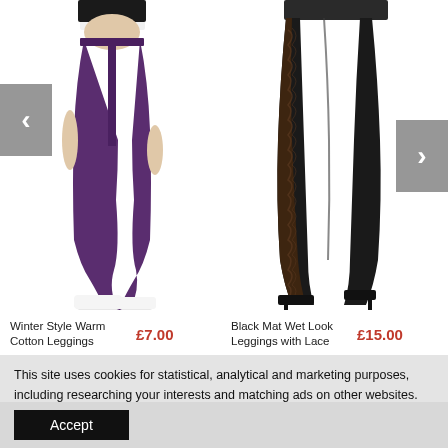[Figure (photo): Two product images side by side: left shows a woman wearing purple/dark leggings with white sneakers; right shows legs in black wet-look leggings with lace side panel and black heels. Navigation arrows on left and right sides.]
Winter Style Warm Cotton Leggings
£7.00
Black Mat Wet Look Leggings with Lace
£15.00
This site uses cookies for statistical, analytical and marketing purposes, including researching your interests and matching ads on other websites. You can specify the conditions for storage and access to cookies in your browser. More
Accept